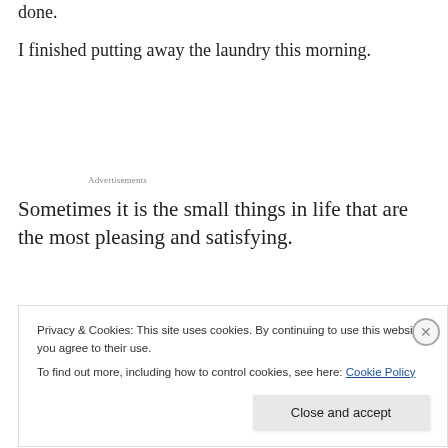done.
I finished putting away the laundry this morning.
Advertisements
Sometimes it is the small things in life that are the most pleasing and satisfying.
Time with Alvin and Humphrey.
Privacy & Cookies: This site uses cookies. By continuing to use this website, you agree to their use.
To find out more, including how to control cookies, see here: Cookie Policy
Close and accept